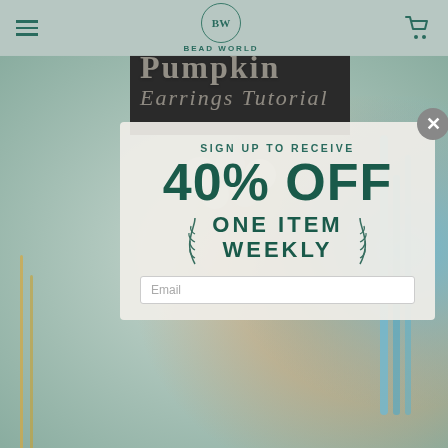BEAD WORLD
[Figure (screenshot): Background photo of colorful beads and jewelry on a surface, partially obscured by popup modal. Background text reads 'Pumpkin Earrings Tutorial']
SIGN UP TO RECEIVE
40% OFF
ONE ITEM WEEKLY
Email